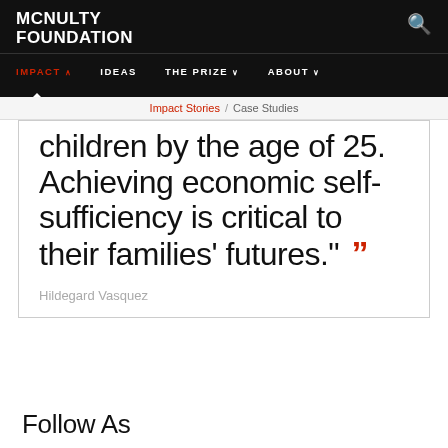McNULTY FOUNDATION
IMPACT   IDEAS   THE PRIZE   ABOUT
Impact Stories / Case Studies
children by the age of 25. Achieving economic self-sufficiency is critical to their families' futures."
Hildegard Vasquez
Follow As